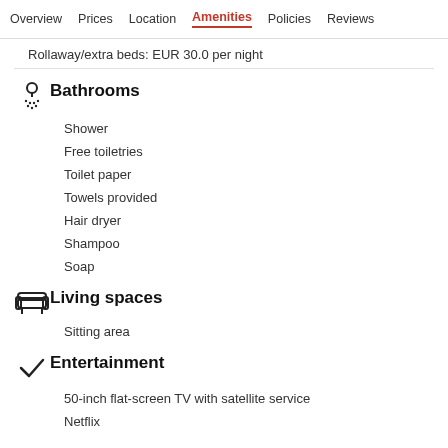Overview  Prices  Location  Amenities  Policies  Reviews
Rollaway/extra beds: EUR 30.0 per night
Bathrooms
Shower
Free toiletries
Toilet paper
Towels provided
Hair dryer
Shampoo
Soap
Living spaces
Sitting area
Entertainment
50-inch flat-screen TV with satellite service
Netflix